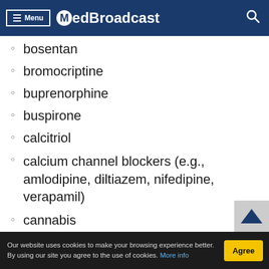Menu MedBroadcast
bosentan
bromocriptine
buprenorphine
buspirone
calcitriol
calcium channel blockers (e.g., amlodipine, diltiazem, nifedipine, verapamil)
cannabis
carvedilol
Our website uses cookies to make your browsing experience better. By using our site you agree to the use of cookies. More info